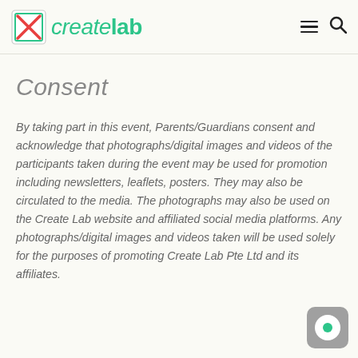createlab
Consent
By taking part in this event, Parents/Guardians consent and acknowledge that photographs/digital images and videos of the participants taken during the event may be used for promotion including newsletters, leaflets, posters. They may also be circulated to the media. The photographs may also be used on the Create Lab website and affiliated social media platforms. Any photographs/digital images and videos taken will be used solely for the purposes of promoting Create Lab Pte Ltd and its affiliates.